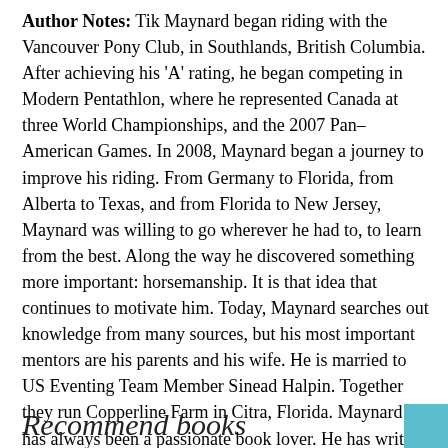Author Notes: Tik Maynard began riding with the Vancouver Pony Club, in Southlands, British Columbia. After achieving his 'A' rating, he began competing in Modern Pentathlon, where he represented Canada at three World Championships, and the 2007 Pan–American Games. In 2008, Maynard began a journey to improve his riding. From Germany to Florida, from Alberta to Texas, and from Florida to New Jersey, Maynard was willing to go wherever he had to, to learn from the best. Along the way he discovered something more important: horsemanship. It is that idea that continues to motivate him. Today, Maynard searches out knowledge from many sources, but his most important mentors are his parents and his wife. He is married to US Eventing Team Member Sinead Halpin. Together they run Copperline Farm in Citra, Florida. Maynard has always been a passionate book lover. He has written a children's story, published by REAL magazine, has won the Malahat Review Open Season Award, and has twice been shortlisted for the CBC Literary Awards for his non–fiction works.
Number of Pages: 288